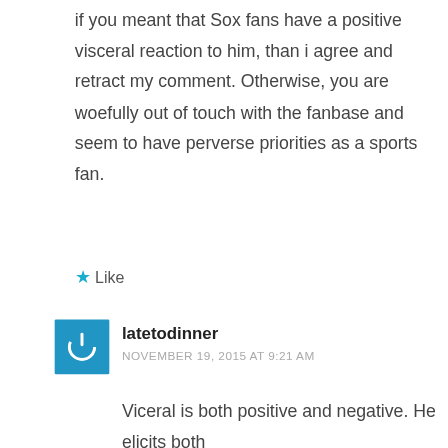if you meant that Sox fans have a positive visceral reaction to him, than i agree and retract my comment. Otherwise, you are woefully out of touch with the fanbase and seem to have perverse priorities as a sports fan.
★ Like
[Figure (other): User avatar: blue square with white power/on button icon for user latetodinner]
latetodinner
NOVEMBER 19, 2015 AT 9:21 AM
Viceral is both positive and negative. He elicits both